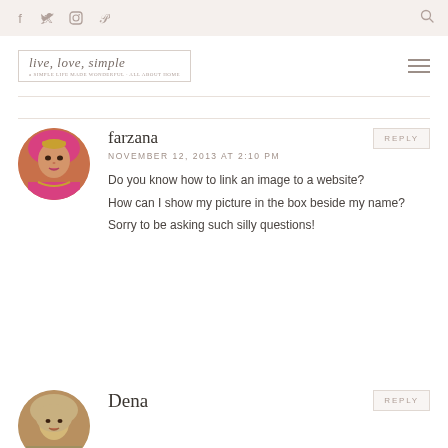Navigation bar with social icons (Facebook, Twitter, Instagram, Pinterest) and search icon
[Figure (logo): live.love.simple blog logo with cursive script text in decorative border]
farzana
NOVEMBER 12, 2013 AT 2:10 PM
Do you know how to link an image to a website?
How can I show my picture in the box beside my name?
Sorry to be asking such silly questions!
Dena